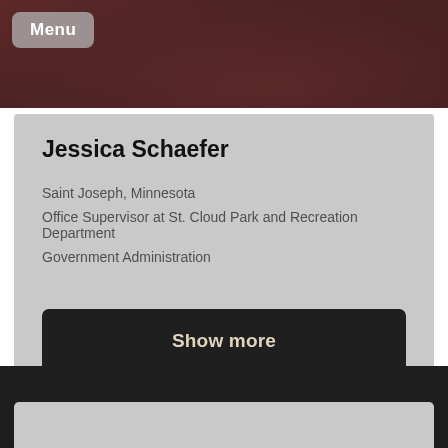[Figure (photo): Top banner photo showing a person in a dark red/maroon top, partially visible, with dark overlay. A menu button is overlaid in the top-left corner.]
Jessica Schaefer
Saint Joseph, Minnesota
Office Supervisor at St. Cloud Park and Recreation Department
Government Administration
Show more